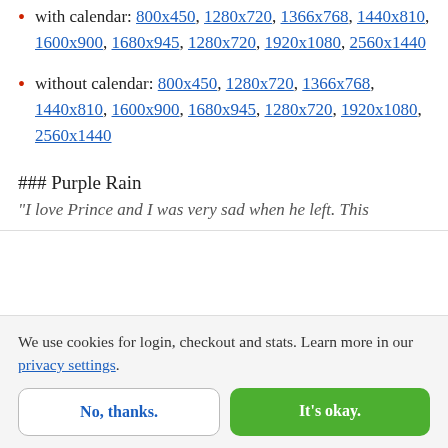with calendar: 800x450, 1280x720, 1366x768, 1440x810, 1600x900, 1680x945, 1280x720, 1920x1080, 2560x1440
without calendar: 800x450, 1280x720, 1366x768, 1440x810, 1600x900, 1680x945, 1280x720, 1920x1080, 2560x1440
### Purple Rain
“I love Prince and I was very sad when he left. This
We use cookies for login, checkout and stats. Learn more in our privacy settings.